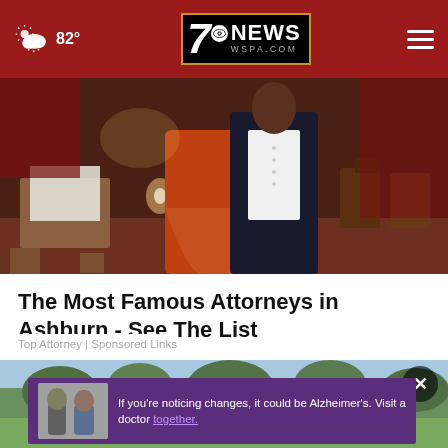82° — 7 NEWS WSPA.COM
[Figure (photo): Two people in formal attire in a banquet room; one wearing an orange dress, other in a dark suit with white shirt. Indoor event setting with chairs and tables in background.]
The Most Famous Attorneys in Ashburn - See The List
Top Attorney | Sponsored Links
[Figure (photo): Outdoor scene of people on a golf course or park on a sunny day. Trees visible in background. Advertisement overlay at bottom showing two men and text: 'If you're noticing changes, it could be Alzheimer's. Visit a doctor together.']